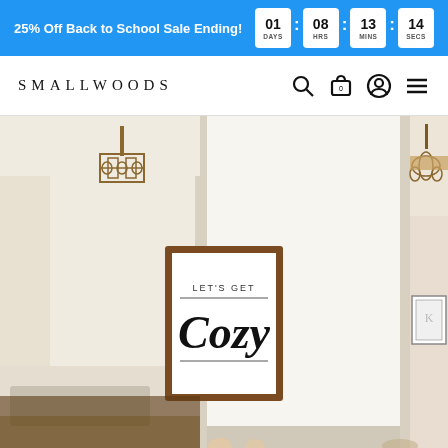25% Off Back to School Sale Ending! 01 DAYS 08 HRS 13 MINS 14 SECS
SMALLWOODS
[Figure (photo): Interior room photo showing a hallway with white walls, two pendant chandeliers on either side, and a framed wooden sign in the center that reads 'LET'S GET Cozy' in script lettering. Side rooms visible with white furniture and decor.]